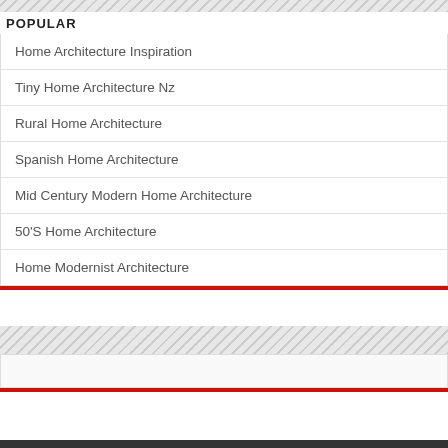POPULAR
Home Architecture Inspiration
Tiny Home Architecture Nz
Rural Home Architecture
Spanish Home Architecture
Mid Century Modern Home Architecture
50'S Home Architecture
Home Modernist Architecture
POWERED by arsitektur
© Copyright 2022 - All Rights Reserved